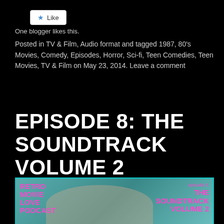[Figure (other): Like button with star icon]
One blogger likes this.
Posted in TV & Film, Audio format and tagged 1987, 80's Movies, Comedy, Episodes, Horror, Sci-fi, Teen Comedies, Teen Movies, TV & Film on May 23, 2014. Leave a comment
EPISODE 8: THE SOUNDTRACK VOLUME 2
[Figure (photo): Retro Movie Love Podcast cover image for Episode 8: The Soundtrack Volume 2, showing people with pink text overlay on teal background]